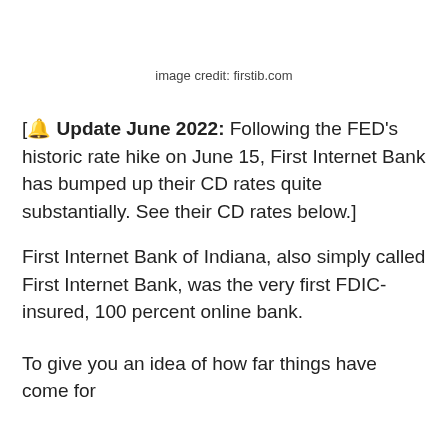image credit: firstib.com
[🔔 Update June 2022: Following the FED’s historic rate hike on June 15, First Internet Bank has bumped up their CD rates quite substantially. See their CD rates below.]
First Internet Bank of Indiana, also simply called First Internet Bank, was the very first FDIC-insured, 100 percent online bank.
To give you an idea of how far things have come for